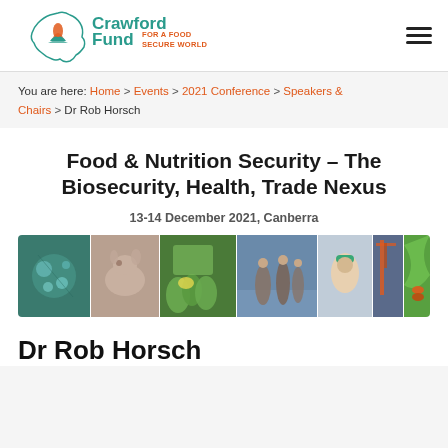Crawford Fund – For a Food Secure World
You are here: Home > Events > 2021 Conference > Speakers & Chairs > Dr Rob Horsch
Food & Nutrition Security – The Biosecurity, Health, Trade Nexus
13-14 December 2021, Canberra
[Figure (photo): Banner showing multiple photos: microscope/cells, a mouse, green bananas, people fishing/working near water, a worker with helmet, a port crane, and a green plant with caterpillar]
Dr Rob Horsch